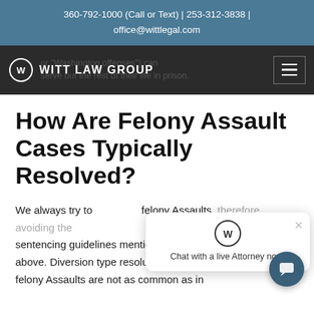360-792-1000 (Call or Text) | 253-312-3838 | office@wittlegal.com
[Figure (logo): Witt Law Group logo with circular W emblem and white text on dark navigation bar, with hamburger menu icon on right]
How Are Felony Assault Cases Typically Resolved?
We always try to [resolve] felony Assaults, therefore avoiding the sentencing guidelines mentioned above. Diversion type resolutions to felony Assaults are not as common as in
[Figure (screenshot): Chat popup widget with Witt Law Group W logo icon, text 'Chat with a live Attorney now!', close X button, and circular teal chat bubble button in bottom right corner]